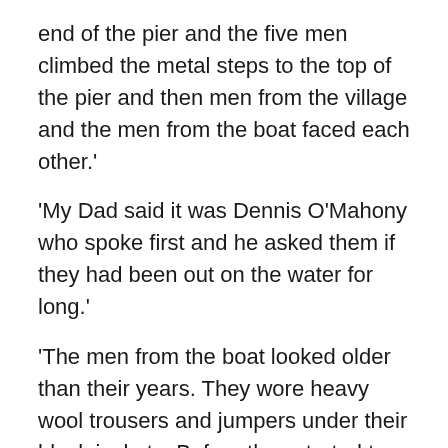end of the pier and the five men climbed the metal steps to the top of the pier and then men from the village and the men from the boat faced each other.'
'My Dad said it was Dennis O'Mahony who spoke first and he asked them if they had been out on the water for long.'
'The men from the boat looked older than their years. They wore heavy wool trousers and jumpers under their black jackets. Before they started to speak they put their black hats on and then men from the village saw the German marks on them. There was a leader and he spoke in German at first and then when saw they didn't understand he said in broken English, “It is okay. We stay here a day to rest.” Dennis O'Mahony waved a hand back over the bay, “There's no permission needed here. You to stay to rest if you want to.” '